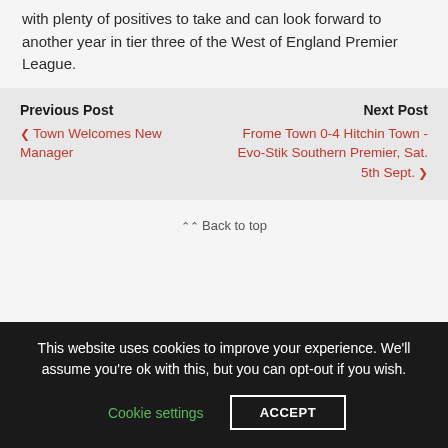with plenty of positives to take and can look forward to another year in tier three of the West of England Premier League.
Previous Post
‹ Town Welcomes New Manager
Next Post
Frome Town 0-4 Hitchin Town - Evo-Stik Southern Premier, Sat. 5th Sept. ›
Back to top
This website uses cookies to improve your experience. We'll assume you're ok with this, but you can opt-out if you wish. Cookie settings ACCEPT